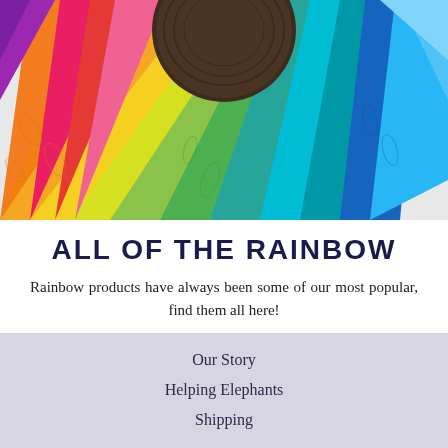[Figure (photo): Fan arrangement of colorful batik fabric swatches in rainbow colors — orange, red, pink, magenta, purple, yellow, green, lime, teal, blue, cyan — spread around a dark wooden circular center.]
ALL OF THE RAINBOW
Rainbow products have always been some of our most popular, find them all here!
ONE FOR THE RAINBOW LOVERS
Our Story
Helping Elephants
Shipping